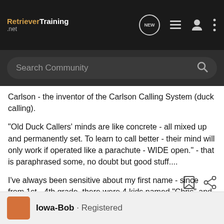RetrieverTraining .net
Carlson - the inventor of the Carlson Calling System (duck calling).
"Old Duck Callers' minds are like concrete - all mixed up and permanently set. To learn to call better - their mind will only work if operated like a parachute - WIDE open." - that is paraphrased some, no doubt but good stuff....
I've always been sensitive about my first name - since from 1st - 4th grade, there were 4 kids named "Chris" and I was the only boy. I guess I could have been named Terry or Pat though huh?
Iowa-Bob · Registered